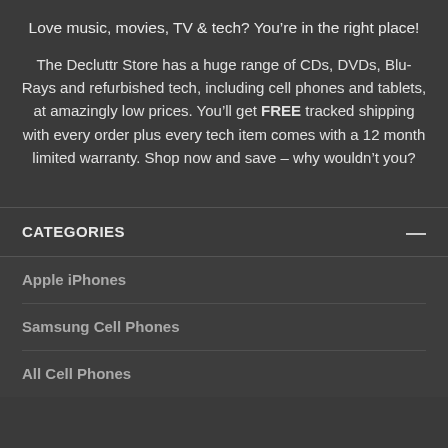Love music, movies, TV & tech? You're in the right place!
The Decluttr Store has a huge range of CDs, DVDs, Blu-Rays and refurbished tech, including cell phones and tablets, at amazingly low prices. You'll get FREE tracked shipping with every order plus every tech item comes with a 12 month limited warranty. Shop now and save – why wouldn't you?
CATEGORIES
Apple iPhones
Samsung Cell Phones
All Cell Phones